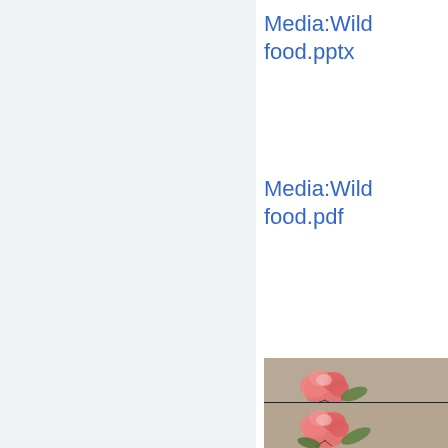Media:Wildfood.pptx
Media:Wildfood.pdf
[Figure (photo): Two photographs stacked vertically showing pink flowers (geranium-like) lying on a sandy/gravelly textured surface with green leaves visible]